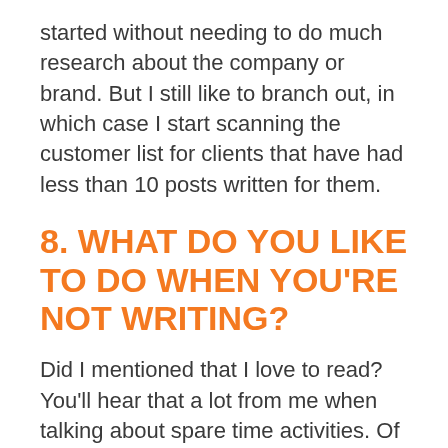started without needing to do much research about the company or brand. But I still like to branch out, in which case I start scanning the customer list for clients that have had less than 10 posts written for them.
8. WHAT DO YOU LIKE TO DO WHEN YOU'RE NOT WRITING?
Did I mentioned that I love to read? You'll hear that a lot from me when talking about spare time activities. Of course, a pre-school toddler and a 6-month-old don't always allow for much spare time, but they are a joy in